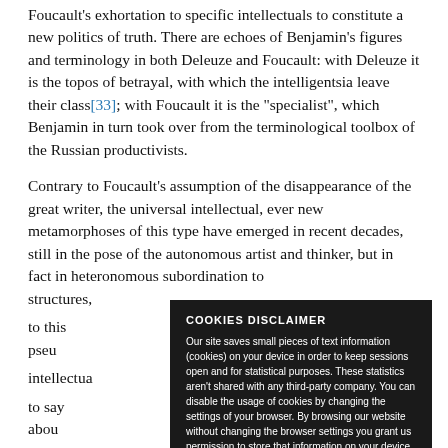Foucault's exhortation to specific intellectuals to constitute a new politics of truth. There are echoes of Benjamin's figures and terminology in both Deleuze and Foucault: with Deleuze it is the topos of betrayal, with which the intelligentsia leave their class[33]; with Foucault it is the "specialist", which Benjamin in turn took over from the terminological toolbox of the Russian productivists.
Contrary to Foucault's assumption of the disappearance of the great writer, the universal intellectual, ever new metamorphoses of this type have emerged in recent decades, still in the pose of the autonomous artist and thinker, but in fact in heteronomous subordination to structures, to this pseudo intellectuals to say about instruments media and supply, to spectacle.
COOKIES DISCLAIMER
Our site saves small pieces of text information (cookies) on your device in order to keep sessions open and for statistical purposes. These statistics aren't shared with any third-party company. You can disable the usage of cookies by changing the settings of your browser. By browsing our website without changing the browser settings you grant us permission to store that information on your device.
To a certain degree, to the extent that intellectuals are involved in this